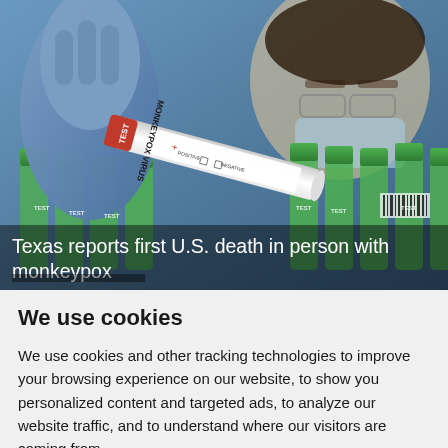[Figure (photo): A gloved hand holds a test tube labeled 'MONKEYPOX VIRUS' with 'TEST' cap and 'POSITIVE / NEGATIVE' checkboxes. In the background are multiple green-capped test tubes and a masked researcher wearing glasses.]
Texas reports first U.S. death in person with monkeypox
We use cookies
We use cookies and other tracking technologies to improve your browsing experience on our website, to show you personalized content and targeted ads, to analyze our website traffic, and to understand where our visitors are coming from.